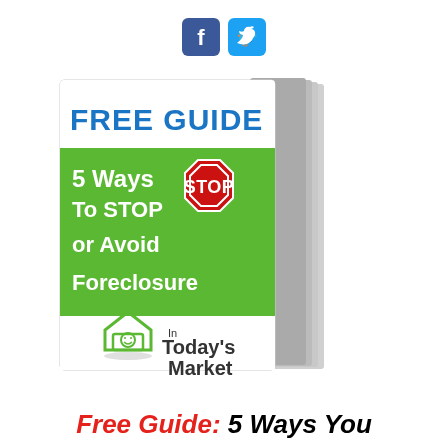[Figure (illustration): Facebook and Twitter social media icons (blue rounded square buttons with f and bird logo)]
[Figure (illustration): Book cover for 'FREE GUIDE: 5 Ways To STOP or Avoid Foreclosure In Today's Market' with green background, red STOP sign, and happy house icon. Multiple stacked pages visible on the right side.]
Free Guide: 5 Ways You